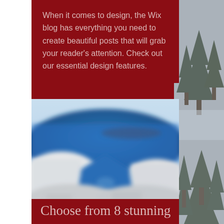When it comes to design, the Wix blog has everything you need to create beautiful posts that will grab your reader's attention. Check out our essential design features.
[Figure (photo): Blurred photo of Santorini-style white buildings with a vivid blue sea/ocean in the background, viewed from between whitewashed structures.]
Choose from 8 stunning